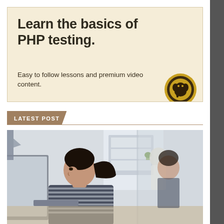[Figure (infographic): Promotional banner with cream/beige background. Title: 'Learn the basics of PHP testing.' Subtitle: 'Easy to follow lessons and premium video content.' Logo icon (circular elephant/PHP mascot) bottom right.]
LATEST POST
[Figure (photo): Office photo showing a young woman with dark hair in a ponytail wearing a striped top, sitting at a computer. Her reflection is visible in glass panel on the right. Another person is blurred in the background.]